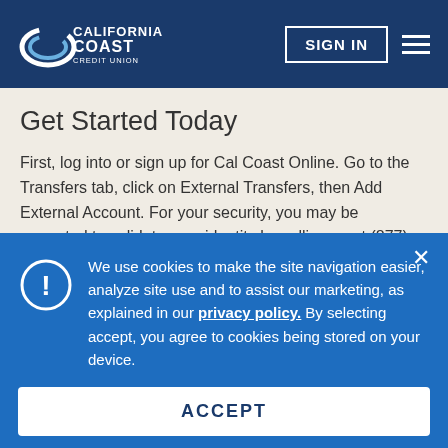[Figure (logo): California Coast Credit Union logo — white text and swoosh graphic on dark blue background]
SIGN IN | menu (hamburger icon)
Get Started Today
First, log into or sign up for Cal Coast Online. Go to the Transfers tab, click on External Transfers, then Add External Account. For your security, you may be prompted to validate your identity by calling us at (877) 495-1600. Otherwise, you'll receive a one-time security passcode by phone or text that you'll use to validate your identity
We use cookies to make the site navigation easier, analyze site use and to assist our marketing, as explained in our privacy policy. By selecting accept, you agree to cookies being stored on your device.
ACCEPT